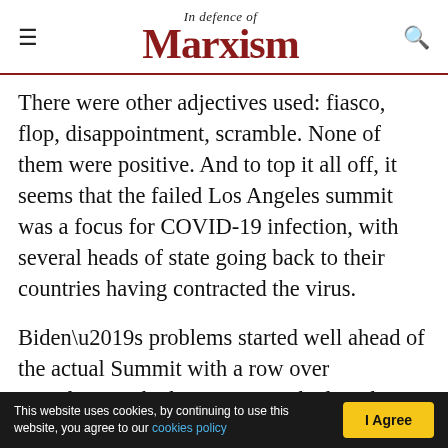In Defence of Marxism
There were other adjectives used: fiasco, flop, disappointment, scramble. None of them were positive. And to top it all off, it seems that the failed Los Angeles summit was a focus for COVID-19 infection, with several heads of state going back to their countries having contracted the virus.
Biden’s problems started well ahead of the actual Summit with a row over attendance, which was to overshadow the whole proceedings. The US president, who on this occasion was hosting the Summit, decided that being the host meant he got to
This website uses cookies, by continuing to use this website, you agree to our cookies policy | I Agree